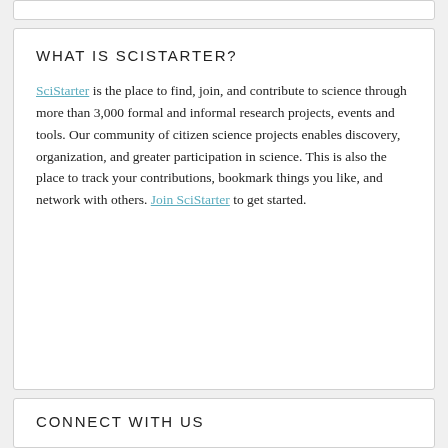WHAT IS SCISTARTER?
SciStarter is the place to find, join, and contribute to science through more than 3,000 formal and informal research projects, events and tools. Our community of citizen science projects enables discovery, organization, and greater participation in science. This is also the place to track your contributions, bookmark things you like, and network with others. Join SciStarter to get started.
CONNECT WITH US